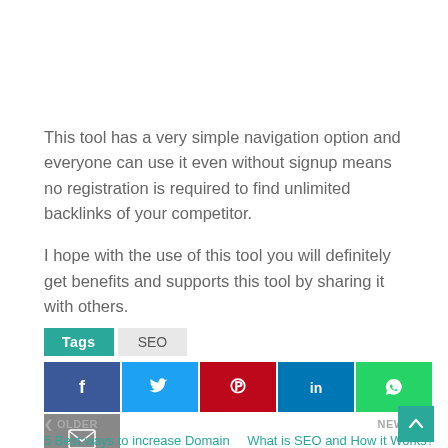This tool has a very simple navigation option and everyone can use it even without signup means no registration is required to find unlimited backlinks of your competitor.
I hope with the use of this tool you will definitely get benefits and supports this tool by sharing it with others.
Tags  SEO
[Figure (infographic): Social share buttons: Facebook, Twitter, Pinterest, LinkedIn, WhatsApp, Email]
< OLDER
5 Best ways to increase Domain Authority?
NEWER >
What is SEO and How it Works?